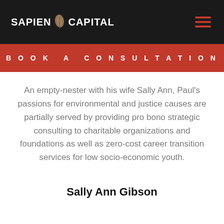SAPIEN CAPITAL
BOOK A CONSULTATION
An empty-nester with his wife Sally Ann, Paul’s passions for environmental and justice causes are partially served by providing pro bono strategic consulting to charitable organizations and foundations as well as zero-cost career transition services for low socio-economic youth.
Sally Ann Gibson